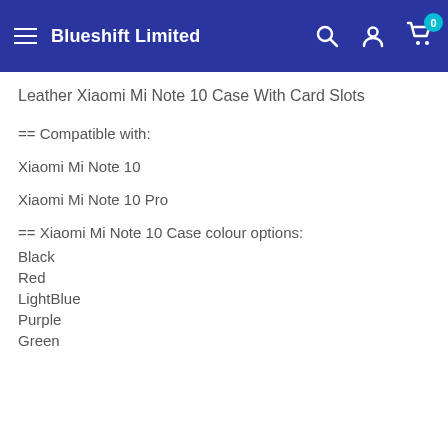Blueshift Limited
Leather Xiaomi Mi Note 10 Case With Card Slots
== Compatible with:
Xiaomi Mi Note 10
Xiaomi Mi Note 10 Pro
== Xiaomi Mi Note 10 Case colour options:
Black
Red
LightBlue
Purple
Green